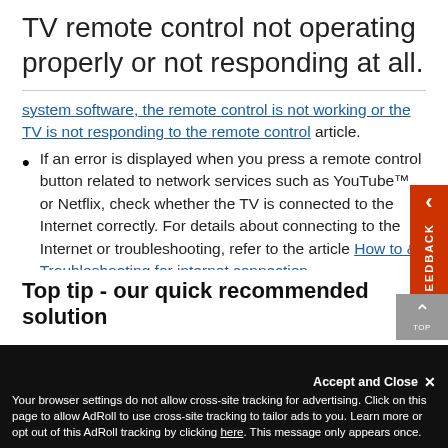TV remote control not operating properly or not responding at all.
system software, the remote control is not working or the TV is not responding to the remote control article.
If an error is displayed when you press a remote control button related to network services such as YouTube™ or Netflix, check whether the TV is connected to the Internet correctly. For details about connecting to the Internet or troubleshooting, refer to the article How to & Troubleshooting for internet connection.
Top tip - our quick recommended solution
Accept and Close ✕ Your browser settings do not allow cross-site tracking for advertising. Click on this page to allow AdRoll to use cross-site tracking to tailor ads to you. Learn more or opt out of this AdRoll tracking by clicking here. This message only appears once.